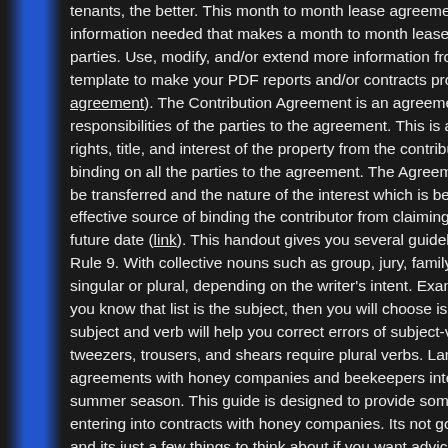tenants, the better. This month to month lease agreement PDF te... information needed that makes a month to month lease contract e... parties. Use, modify, and/or extend more information from this mo... template to make your PDF reports and/or contracts professional ... agreement). The Contribution Agreement is an agreement that tal... responsibilities of the parties to the agreement. This is an agreem... rights, title, and interest of the property from the contributor to the... binding on all the parties to the agreement. The Agreement shoul... be transferred and the nature of the interest which is being transfe... effective source of binding the contributor from claiming any intere... future date (link). This handout gives you several guidelines to hel... Rule 9. With collective nouns such as group, jury, family, audience... singular or plural, depending on the writer's intent. Example: The ... you know that list is the subject, then you will choose is for the ve... subject and verb will help you correct errors of subject-verb agree... tweezers, trousers, and shears require plural verbs. Landowners c... agreements with honey companies and beekeepers interested in ... summer season. This guide is designed to provide some basic gu... entering into contracts with honey companies. Its not gospel, its ne... and its just a few things to think about if you want advice about a s... contact us or use a lawyer. Storing Mnuka honey requires a tempe... careful management of the resource to not leave it longer than...